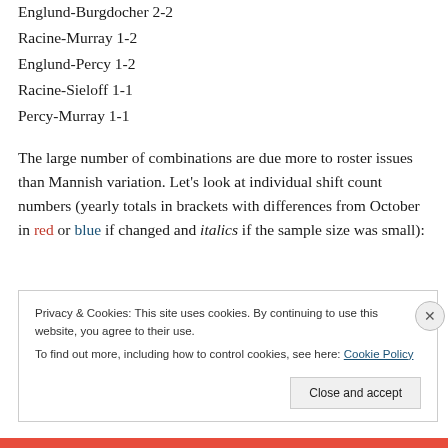Englund-Burgdocher 2-2
Racine-Murray 1-2
Englund-Percy 1-2
Racine-Sieloff 1-1
Percy-Murray 1-1
The large number of combinations are due more to roster issues than Mannish variation. Let’s look at individual shift count numbers (yearly totals in brackets with differences from October in red or blue if changed and italics if the sample size was small):
Privacy & Cookies: This site uses cookies. By continuing to use this website, you agree to their use.
To find out more, including how to control cookies, see here: Cookie Policy